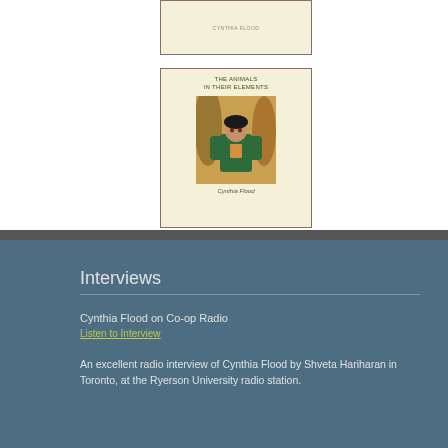[Figure (photo): Top portion of a book cover with cream/yellow background and small author text 'CYNTHIA FLOOD' at bottom, dark red border]
[Figure (illustration): Book cover for 'The Animals in Their Elements' by Cynthia Flood. Cream/yellow background with dark red border. Title text at top, an illustration of a figure in green clothing in the center, author name 'Cynthia Flood' at bottom in italic.]
Interviews
Cynthia Flood on Co-op Radio
Listen to Interview
An excellent radio interview of Cynthia Flood by Shveta Hariharan in Toronto, at the Ryerson University radio station.